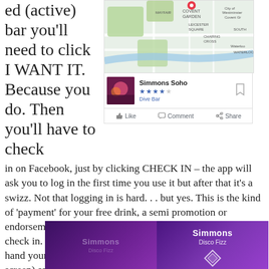ed (active) bar you'll need to click I WANT IT. Because you do. Then you'll have to check
[Figure (screenshot): Map screenshot showing London area with Soho/Covent Garden/Mayfair, with a red pin marker, followed by a Facebook-style card showing 'Simmons Soho' with 4-star rating and 'Dive Bar' category, plus Like/Comment/Share action bar]
in on Facebook, just by clicking CHECK IN – the app will ask you to log in the first time you use it but after that it's a swizz. Not that logging in is hard. . . but yes. This is the kind of 'payment' for your free drink, a semi promotion or endorsement from you about the bar in the form of a FB check in. You'll see a 30 minute countdown and it's time to hand your phone to the bartender (or just let them poke at the screen) and woohoo you're on your way. Very painless.
[Figure (screenshot): Two app screenshots showing 'Simmons' venue screens: left one dimmed with 'Simmons' and 'Disco Fizz' text, right one bright with 'Simmons' and 'Disco Fizz' with a diamond/arrow icon]